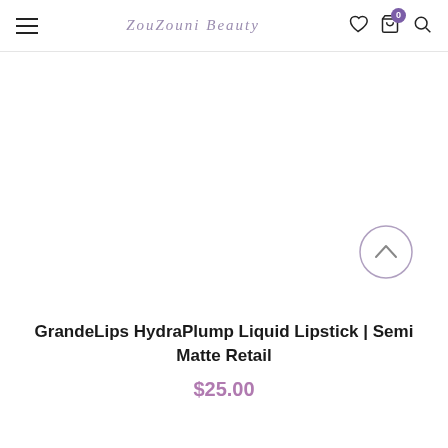ZouZouni Beauty — navigation header with hamburger menu, logo, heart icon, cart (0), and search icon
[Figure (photo): White/blank product image area for GrandeLips HydraPlump Liquid Lipstick with a circular scroll-up chevron button on the right side]
GrandeLips HydraPlump Liquid Lipstick | Semi Matte Retail
$25.00